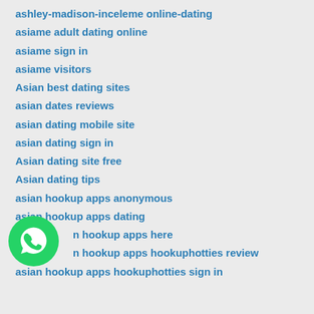ashley-madison-inceleme online-dating
asiame adult dating online
asiame sign in
asiame visitors
Asian best dating sites
asian dates reviews
asian dating mobile site
asian dating sign in
Asian dating site free
Asian dating tips
asian hookup apps anonymous
asian hookup apps dating
asian hookup apps here
asian hookup apps hookuphotties review
asian hookup apps hookuphotties sign in
[Figure (logo): WhatsApp logo - green circle with white phone/chat icon]